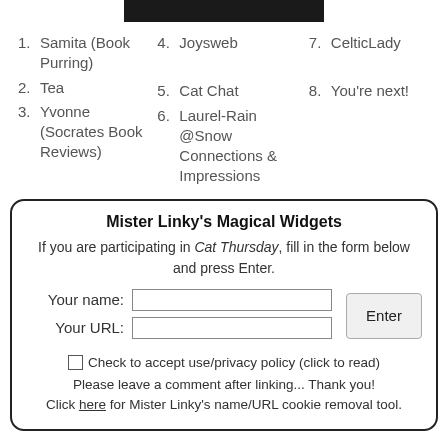[Figure (photo): Partial dark image at the top of the page]
1. Samita (Book Purring)
2. Tea
3. Yvonne (Socrates Book Reviews)
4. Joysweb
5. Cat Chat
6. Laurel-Rain @Snow Connections & Impressions
7. CelticLady
8. You're next!
Mister Linky's Magical Widgets
If you are participating in Cat Thursday, fill in the form below and press Enter.
Your name:
Your URL:
Check to accept use/privacy policy (click to read)
Please leave a comment after linking... Thank you!
Click here for Mister Linky's name/URL cookie removal tool.